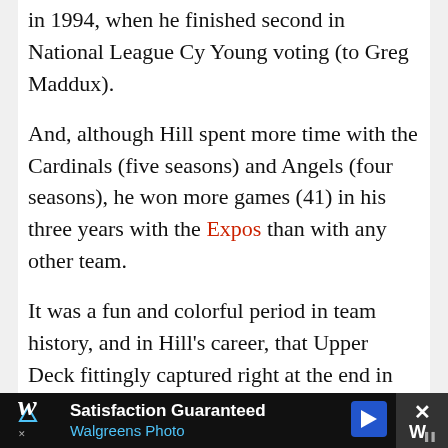in 1994, when he finished second in National League Cy Young voting (to Greg Maddux).
And, although Hill spent more time with the Cardinals (five seasons) and Angels (four seasons), he won more games (41) in his three years with the Expos than with any other team.
It was a fun and colorful period in team history, and in Hill’s career, that Upper Deck fittingly captured right at the end in their 1994 Fun Pack issue.
Fun Pack was one of a handful of sets card companies began rolling out after a few years of
[Figure (other): Walgreens Photo advertisement banner with logo, 'Satisfaction Guaranteed' headline, and navigation arrow icon on dark background]